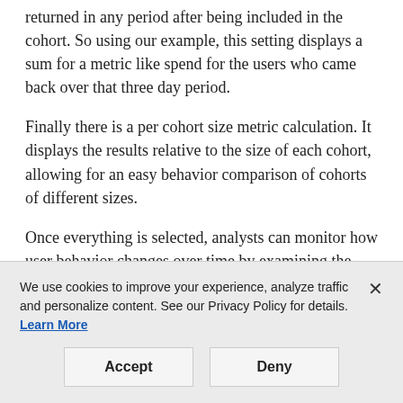returned in any period after being included in the cohort. So using our example, this setting displays a sum for a metric like spend for the users who came back over that three day period.
Finally there is a per cohort size metric calculation. It displays the results relative to the size of each cohort, allowing for an easy behavior comparison of cohorts of different sizes.
Once everything is selected, analysts can monitor how user behavior changes over time by examining the cohorts with varying dates according to campaign
We use cookies to improve your experience, analyze traffic and personalize content. See our Privacy Policy for details. Learn More